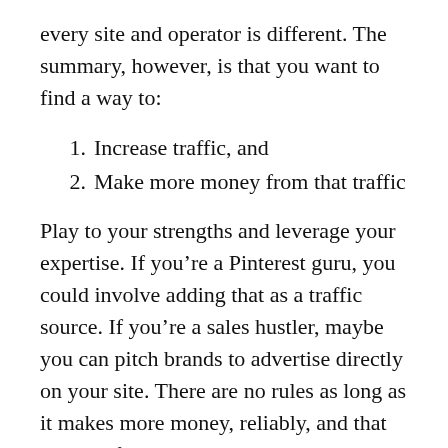every site and operator is different. The summary, however, is that you want to find a way to:
1. Increase traffic, and
2. Make more money from that traffic
Play to your strengths and leverage your expertise. If you’re a Pinterest guru, you could involve adding that as a traffic source. If you’re a sales hustler, maybe you can pitch brands to advertise directly on your site. There are no rules as long as it makes more money, reliably, and that source of revenue can be passed on to a future owner.
Maybe you can double traffic, which in the…